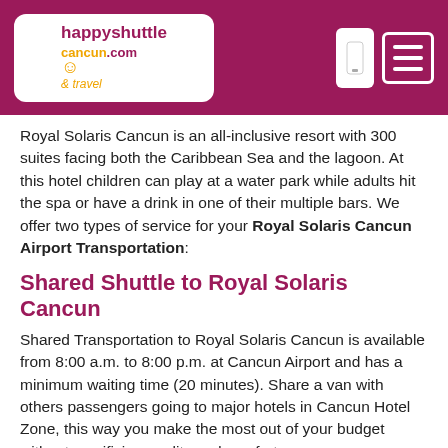[Figure (logo): Happy Shuttle Cancun logo with company name in pink and gold on white rounded rectangle background, inside a dark pink/maroon navigation bar with phone icon and hamburger menu icon]
Royal Solaris Cancun is an all-inclusive resort with 300 suites facing both the Caribbean Sea and the lagoon. At this hotel children can play at a water park while adults hit the spa or have a drink in one of their multiple bars. We offer two types of service for your Royal Solaris Cancun Airport Transportation:
Shared Shuttle to Royal Solaris Cancun
Shared Transportation to Royal Solaris Cancun is available from 8:00 a.m. to 8:00 p.m. at Cancun Airport and has a minimum waiting time (20 minutes). Share a van with others passengers going to major hotels in Cancun Hotel Zone, this way you make the most out of your budget without sacrificing quality and comfort.
Private Transportation to Royal Solaris Cancun
The private transfer to Royal Solaris Cancun is available 24/7